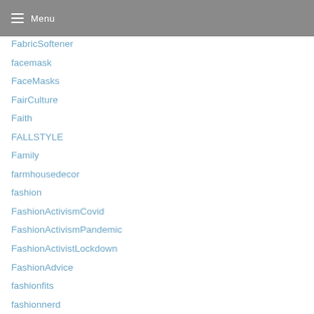Menu
FabricSoftener
facemask
FaceMasks
FairCulture
Faith
FALLSTYLE
Family
farmhousedecor
fashion
FashionActivismCovid
FashionActivismPandemic
FashionActivistLockdown
FashionAdvice
fashionfits
fashionnerd
FashionNews
FashionTrends